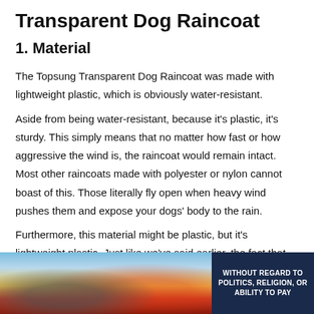Transparent Dog Raincoat
1. Material
The Topsung Transparent Dog Raincoat was made with lightweight plastic, which is obviously water-resistant.
Aside from being water-resistant, because it's plastic, it's sturdy. This simply means that no matter how fast or how aggressive the wind is, the raincoat would remain intact. Most other raincoats made with polyester or nylon cannot boast of this. Those literally fly open when heavy wind pushes them and expose your dogs' body to the rain.
Furthermore, this material might be plastic, but it's lightweight plastic. Just like we've said earlier, the fact that this is lightweight
[Figure (photo): Advertisement banner showing an airplane being loaded with cargo, with a dark blue panel on the right reading 'WITHOUT REGARD TO POLITICS, RELIGION, OR ABILITY TO PAY']